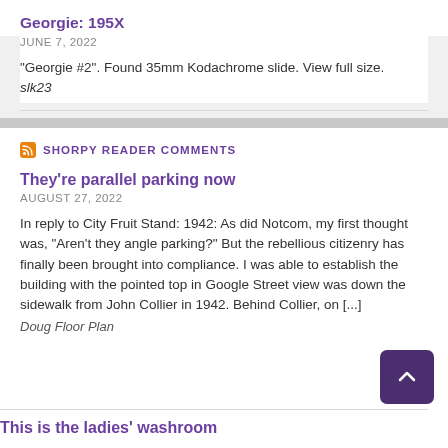Georgie: 195X
JUNE 7, 2022
"Georgie #2". Found 35mm Kodachrome slide. View full size. slk23
SHORPY READER COMMENTS
They're parallel parking now
AUGUST 27, 2022
In reply to City Fruit Stand: 1942: As did Notcom, my first thought was, "Aren't they angle parking?" But the rebellious citizenry has finally been brought into compliance. I was able to establish the building with the pointed top in Google Street view was down the sidewalk from John Collier in 1942. Behind Collier, on [...]
Doug Floor Plan
This is the ladies' washroom